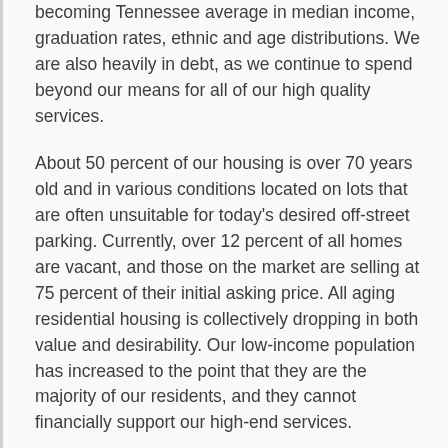becoming Tennessee average in median income, graduation rates, ethnic and age distributions. We are also heavily in debt, as we continue to spend beyond our means for all of our high quality services.
About 50 percent of our housing is over 70 years old and in various conditions located on lots that are often unsuitable for today's desired off-street parking. Currently, over 12 percent of all homes are vacant, and those on the market are selling at 75 percent of their initial asking price. All aging residential housing is collectively dropping in both value and desirability. Our low-income population has increased to the point that they are the majority of our residents, and they cannot financially support our high-end services.